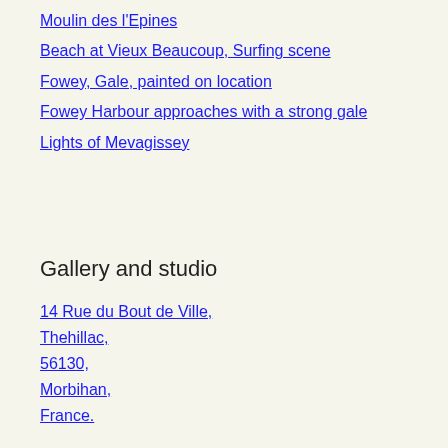Moulin des l'Epines
Beach at Vieux Beaucoup, Surfing scene
Fowey, Gale, painted on location
Fowey Harbour approaches with a strong gale
Lights of Mevagissey
Gallery and studio
14 Rue du Bout de Ville,
Thehillac,
56130,
Morbihan,
France.